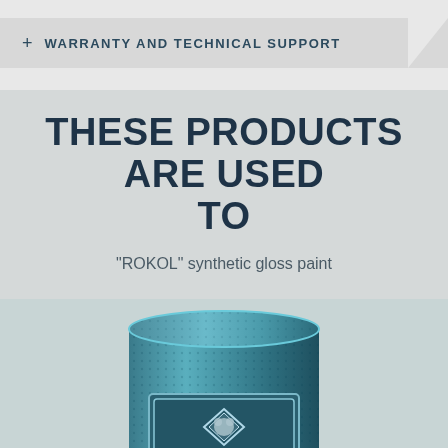+ WARRANTY AND TECHNICAL SUPPORT
THESE PRODUCTS ARE USED TO
"ROKOL" synthetic gloss paint
[Figure (photo): A large teal/dark cyan paint can with the ROKOL brand logo and a diamond-shaped bear head emblem on a light teal background]